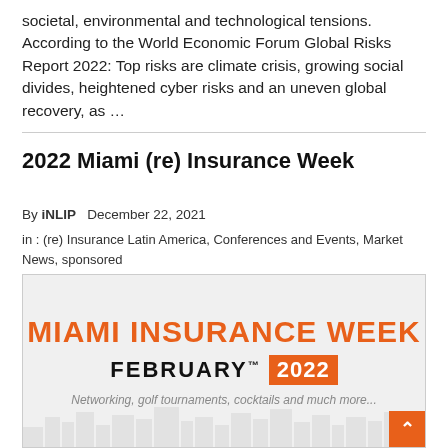societal, environmental and technological tensions. According to the World Economic Forum Global Risks Report 2022: Top risks are climate crisis, growing social divides, heightened cyber risks and an uneven global recovery, as ...
2022 Miami (re) Insurance Week
By iNLIP   December 22, 2021
in : (re) Insurance Latin America, Conferences and Events, Market News, sponsored
[Figure (infographic): Miami Insurance Week banner for February 2022. Large orange bold text reads 'MIAMI INSURANCE WEEK'. Below in black bold text 'FEBRUARY' followed by '2022' in an orange rectangle. Italic grey text reads 'Networking, golf tournaments, cocktails and much more...' City silhouette in background. Orange scroll-to-top button in bottom right corner.]